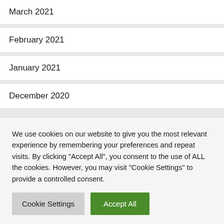March 2021
February 2021
January 2021
December 2020
We use cookies on our website to give you the most relevant experience by remembering your preferences and repeat visits. By clicking "Accept All", you consent to the use of ALL the cookies. However, you may visit "Cookie Settings" to provide a controlled consent.
Cookie Settings | Accept All